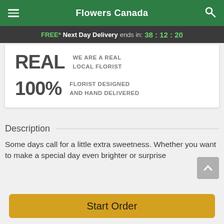Flowers Canada
FREE* Next Day Delivery ends in: 38:12:20
REAL  WE ARE A REAL LOCAL FLORIST
100%  FLORIST DESIGNED AND HAND DELIVERED
Description
Some days call for a little extra sweetness. Whether you want to make a special day even brighter or surprise
Start Order